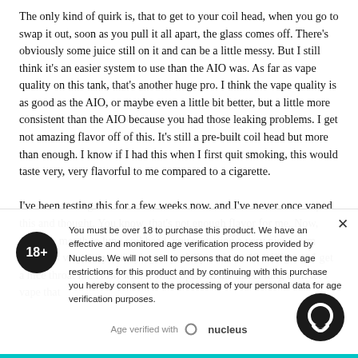The only kind of quirk is, that to get to your coil head, when you go to swap it out, soon as you pull it all apart, the glass comes off. There's obviously some juice still on it and can be a little messy. But I still think it's an easier system to use than the AIO was. As far as vape quality on this tank, that's another huge pro. I think the vape quality is as good as the AIO, or maybe even a little bit better, but a little more consistent than the AIO because you had those leaking problems. I get not amazing flavor off of this. It's still a pre-built coil head but more than enough. I know if I had this when I first quit smoking, this would taste very, very flavorful to me compared to a cigarette.

I've been testing this for a few weeks now, and I've never once vaped this and thought, You know, that's not enough flavor for me. Now, with the mouth to lung coil head, you're getting a very nice warm vape. It's very, very satisfying, especially with the 12 milligram, I get a nice throat hit. Now, with it wide open on the direct lung coil: let's vape that
You must be over 18 to purchase this product. We have an effective and monitored age verification process provided by Nucleus. We will not sell to persons that do not meet the age restrictions for this product and by continuing with this purchase you hereby consent to the processing of your personal data for age verification purposes.
Age verified with nucleus